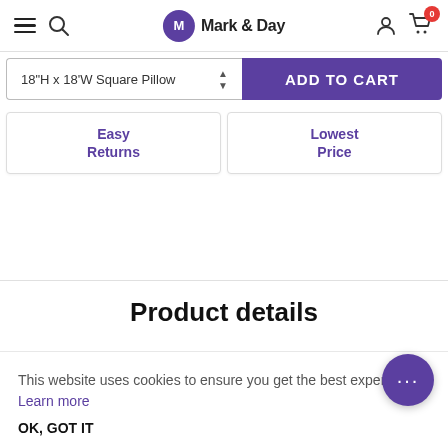Mark & Day
18"H x 18'W Square Pillow
ADD TO CART
Easy Returns
Lowest Price
Product details
This website uses cookies to ensure you get the best experience. Learn more
OK, GOT IT